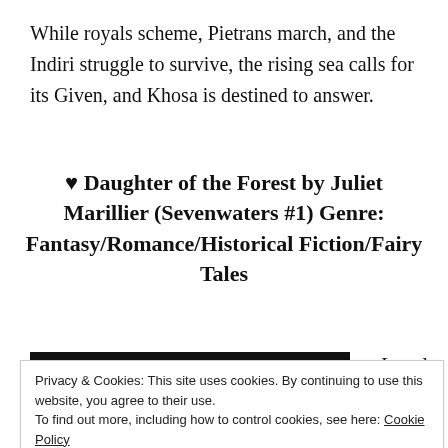While royals scheme, Pietrans march, and the Indiri struggle to survive, the rising sea calls for its Given, and Khosa is destined to answer.
♥ Daughter of the Forest by Juliet Marillier (Sevenwaters #1) Genre: Fantasy/Romance/Historical Fiction/Fairy Tales
[Figure (photo): Book cover image partially visible with black and white illustration, partially obscured by cookie banner]
Lovely
only
Privacy & Cookies: This site uses cookies. By continuing to use this website, you agree to their use.
To find out more, including how to control cookies, see here: Cookie Policy